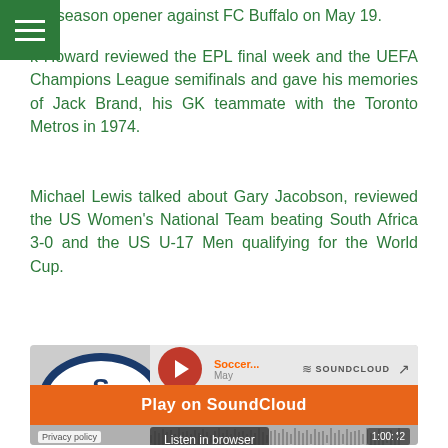the season opener against FC Buffalo on May 19.
k Howard reviewed the EPL final week and the UEFA Champions League semifinals and gave his memories of Jack Brand, his GK teammate with the Toronto Metros in 1974.
Michael Lewis talked about Gary Jacobson, reviewed the US Women's National Team beating South Africa 3-0 and the US U-17 Men qualifying for the World Cup.
[Figure (screenshot): SoundCloud embedded player showing a soccer podcast episode with orange 'Play on SoundCloud' button and 'Listen in browser' overlay. Duration shown as 1:00:42. Play count shows 5.]